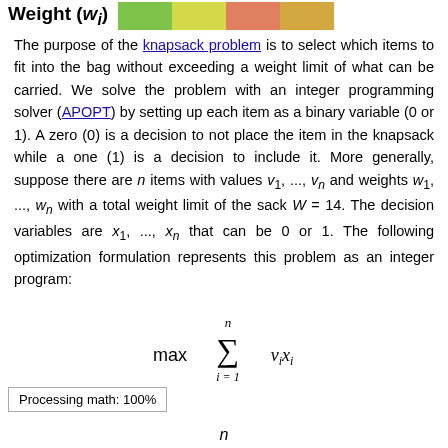Weight (w_i) [color legend bar]
The purpose of the knapsack problem is to select which items to fit into the bag without exceeding a weight limit of what can be carried. We solve the problem with an integer programming solver (APOPT) by setting up each item as a binary variable (0 or 1). A zero (0) is a decision to not place the item in the knapsack while a one (1) is a decision to include it. More generally, suppose there are n items with values v_1, ..., v_n and weights w_1, ..., w_n with a total weight limit of the sack W = 14. The decision variables are x_1, ..., x_n that can be 0 or 1. The following optimization formulation represents this problem as an integer program:
Processing math: 100%